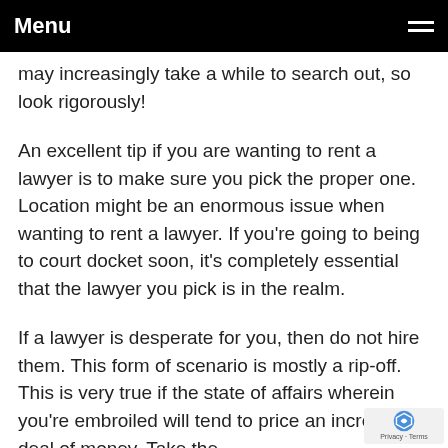Menu
may increasingly take a while to search out, so look rigorously!
An excellent tip if you are wanting to rent a lawyer is to make sure you pick the proper one. Location might be an enormous issue when wanting to rent a lawyer. If you're going to being to court docket soon, it's completely essential that the lawyer you pick is in the realm.
If a lawyer is desperate for you, then do not hire them. This form of scenario is mostly a rip-off. This is very true if the state of affairs wherein you're embroiled will tend to price an incredible deal of money. Take the